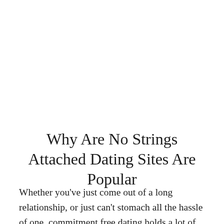Why Are No Strings Attached Dating Sites Are Popular
Whether you've just come out of a long relationship, or just can't stomach all the hassle of one, commitment free dating holds a lot of appeal these days. There's the thrill of the chase, the buzz